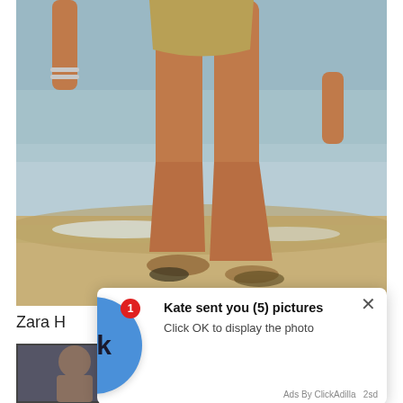[Figure (photo): A person wearing a gold/beige bikini bottom walking at the beach shoreline, waves and wet sand visible, lower torso and legs shown, bracelets on wrist.]
Zara H
[Figure (photo): Thumbnail strip of additional photos in a dark background.]
[Figure (other): Ad overlay popup: Blue circle with 'Ok' text and red badge showing '1'. Title: 'Kate sent you (5) pictures'. Subtitle: 'Click OK to display the photo'. Close X button. Footer: 'Ads By ClickAdilla  2sd']